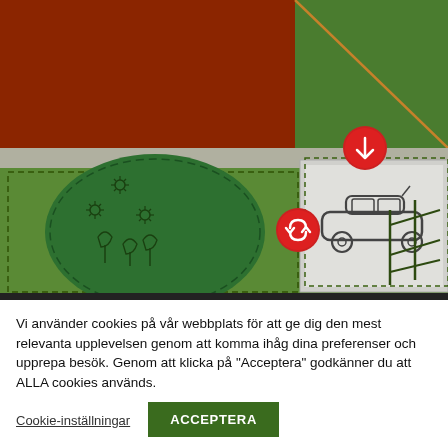[Figure (illustration): Top-down garden/property map illustration showing brown roof areas, green garden beds with flower icons, a grey driveway/parking area with a car icon (side view), green lawn areas with dashed borders, a fence/gate structure, an orange diagonal line, and two red circular icons with arrows indicating interactive points.]
Vi använder cookies på vår webbplats för att ge dig den mest relevanta upplevelsen genom att komma ihåg dina preferenser och upprepa besök. Genom att klicka på "Acceptera" godkänner du att ALLA cookies används.
Cookie-inställningar
ACCEPTERA